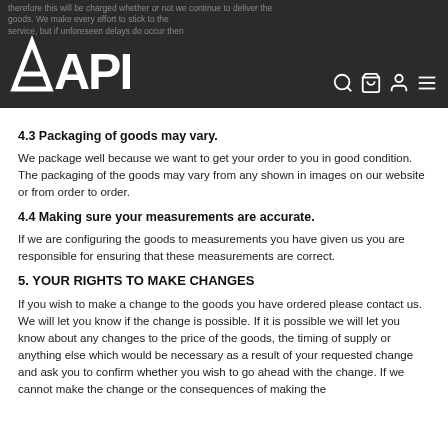[Figure (screenshot): Dark header bar with APEX logo on the left and navigation icons (search, cart, user, menu) on the right, with partially visible legal text in the background]
4.3 Packaging of goods may vary.
We package well because we want to get your order to you in good condition. The packaging of the goods may vary from any shown in images on our website or from order to order.
4.4 Making sure your measurements are accurate.
If we are configuring the goods to measurements you have given us you are responsible for ensuring that these measurements are correct.
5. YOUR RIGHTS TO MAKE CHANGES
If you wish to make a change to the goods you have ordered please contact us. We will let you know if the change is possible. If it is possible we will let you know about any changes to the price of the goods, the timing of supply or anything else which would be necessary as a result of your requested change and ask you to confirm whether you wish to go ahead with the change. If we cannot make the change or the consequences of making the